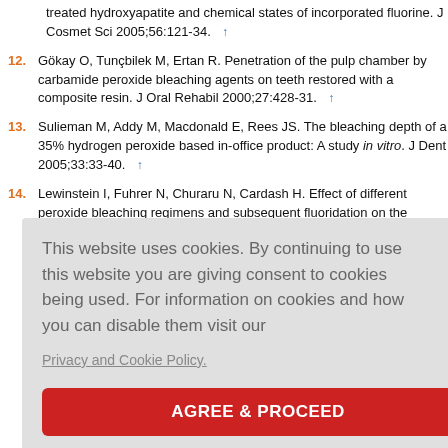treated hydroxyapatite and chemical states of incorporated fluorine. J Cosmet Sci 2005;56:121-34. ↑
12. Gökay O, Tunçbilek M, Ertan R. Penetration of the pulp chamber by carbamide peroxide bleaching agents on teeth restored with a composite resin. J Oral Rehabil 2000;27:428-31. ↑
13. Sulieman M, Addy M, Macdonald E, Rees JS. The bleaching depth of a 35% hydrogen peroxide based in-office product: A study in vitro. J Dent 2005;33:33-40. ↑
14. Lewinstein I, Fuhrer N, Churaru N, Cardash H. Effect of different peroxide bleaching regimens and subsequent fluoridation on the ;92:337-
[Figure (screenshot): Cookie consent overlay popup with text 'This website uses cookies. By continuing to use this website you are giving consent to cookies being used. For information on cookies and how you can disable them visit our Privacy and Cookie Policy.' and a red 'AGREE & PROCEED' button.]
J Endod 1988;14:69-73. ↑